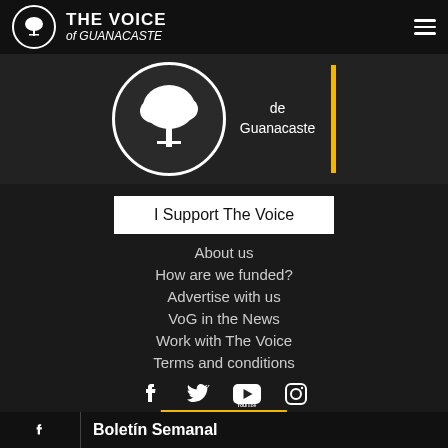THE VOICE of GUANACASTE
[Figure (logo): The Voice of Guanacaste logo — white tree icon inside a circle, with publication name]
I Support The Voice
About us
How are we funded?
Advertise with us
VoG in the News
Work with The Voice
Terms and conditions
[Figure (infographic): Social media icons: Facebook, Twitter, YouTube, Instagram]
GRATIS ×
Boletín Semanal